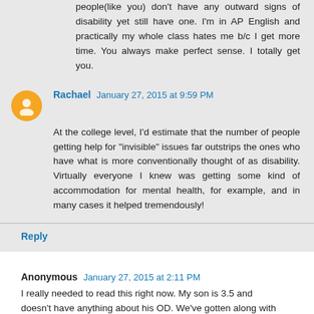people(like you) don't have any outward signs of disability yet still have one. I'm in AP English and practically my whole class hates me b/c I get more time. You always make perfect sense. I totally get you.
Rachael  January 27, 2015 at 9:59 PM
At the college level, I'd estimate that the number of people getting help for "invisible" issues far outstrips the ones who have what is more conventionally thought of as disability. Virtually everyone I knew was getting some kind of accommodation for mental health, for example, and in many cases it helped tremendously!
Reply
Anonymous  January 27, 2015 at 2:11 PM
I really needed to read this right now. My son is 3.5 and doesn't have anything about his OD. We've gotten along with